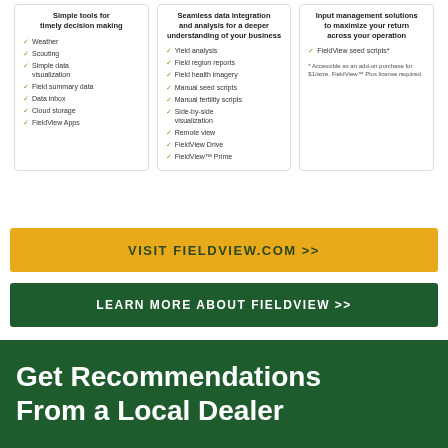Weather
Scouting
Simple data visualization
Field summary data
Data inbox
Cloud storage
FieldView Apps
Yield analysis
Field region reports
Field health imagery
Manual seed scripts
Manual fertility scripts
Side-by-side visualization
Remote view
FieldView Drive
FieldView™ Prime
FieldView seed scripts*
* Accessible as an add-on purchase for $1/acre. FieldView™ Plus license required.
VISIT FIELDVIEW.COM >>
LEARN MORE ABOUT FIELDVIEW >>
Get Recommendations From a Local Dealer